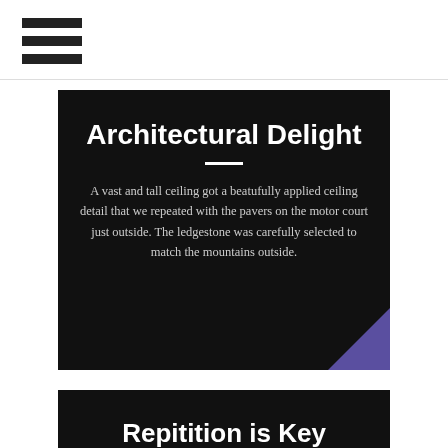Architectural Delight
A vast and tall ceiling got a beatufully applied ceiling detail that we repeated with the pavers on the motor court just outside. The ledgestone was carefully selected to match the mountains outside.
Repitition is Key
The custom cocktail table mimics the ceiling detail